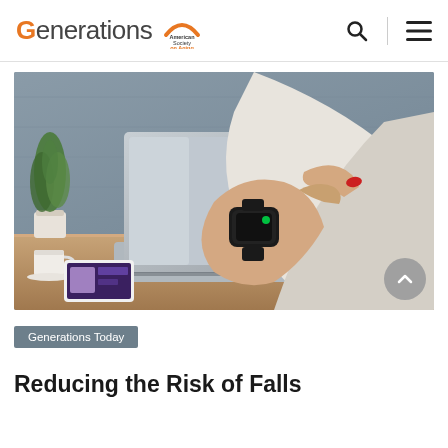Generations | American Society on Aging
[Figure (photo): Person wearing a smartwatch at a desk with a laptop, coffee cup, plant, and smartphone visible. The person has red nail polish and is tapping the smartwatch screen.]
Generations Today
Reducing the Risk of Falls